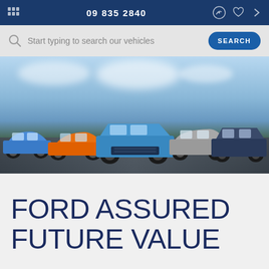09 835 2840
Start typing to search our vehicles
[Figure (photo): Ford vehicle lineup showing five cars including a blue hatchback, orange Mustang, blue Ranger Raptor pickup truck, silver SUV, and dark blue SUV/4x4, arranged in a row on a wet surface with a cloudy sky background.]
FORD ASSURED FUTURE VALUE